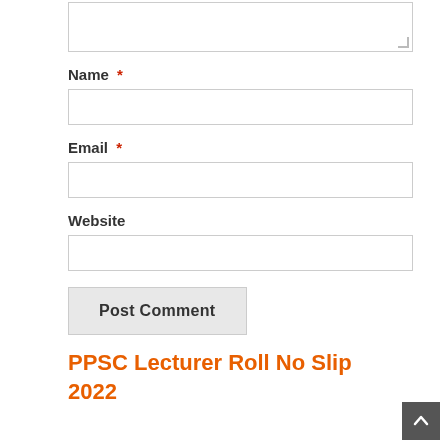[Figure (screenshot): Partial comment textarea input box at the top of the page]
Name *
[Figure (screenshot): Name text input field]
Email *
[Figure (screenshot): Email text input field]
Website
[Figure (screenshot): Website text input field]
Post Comment
PPSC Lecturer Roll No Slip 2022